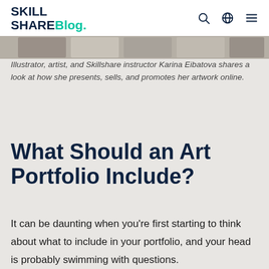Skillshare Blog.
[Figure (photo): Horizontal strip image showing artwork or portfolio images]
Illustrator, artist, and Skillshare instructor Karina Eibatova shares a look at how she presents, sells, and promotes her artwork online.
What Should an Art Portfolio Include?
It can be daunting when you’re first starting to think about what to include in your portfolio, and your head is probably swimming with questions.